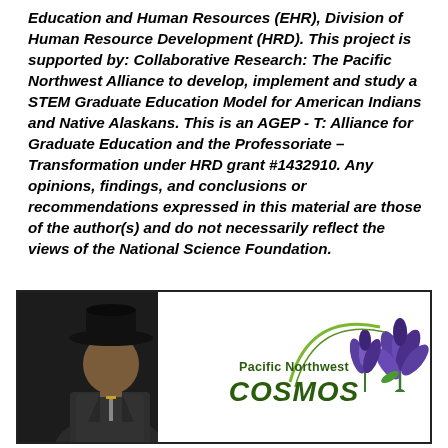Education and Human Resources (EHR), Division of Human Resource Development (HRD). This project is supported by: Collaborative Research: The Pacific Northwest Alliance to develop, implement and study a STEM Graduate Education Model for American Indians and Native Alaskans. This is an AGEP - T: Alliance for Graduate Education and the Professoriate – Transformation under HRD grant #1432910. Any opinions, findings, and conclusions or recommendations expressed in this material are those of the author(s) and do not necessarily reflect the views of the National Science Foundation.
[Figure (photo): A person wearing a black cowboy hat on the left side, and a Pacific Northwest COSMOS logo with purple/blue flowers on the right side, inside a dark-bordered box.]